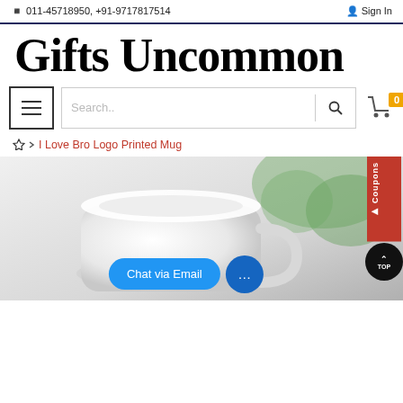011-45718950, +91-9717817514 | Sign In
Gifts Uncommon
[Figure (screenshot): Navigation bar with hamburger menu, search box, and cart icon with badge 0]
I Love Bro Logo Printed Mug
[Figure (photo): White ceramic mug product photo with green plant background, Chat via Email button overlay]